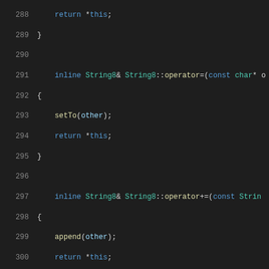Code listing lines 288-309, C++ source code showing String8 operator implementations
288     return *this;
289 }
290
291     inline String8& String8::operator=(const char* ...
292 {
293         setTo(other);
294         return *this;
295 }
296
297     inline String8& String8::operator+=(const String...
298 {
299         append(other);
300         return *this;
301 }
302
303     inline String8 String8::operator+(const String8...
304 {
305         String8 tmp(*this);
306         tmp += other;
307         return tmp;
308 }
309